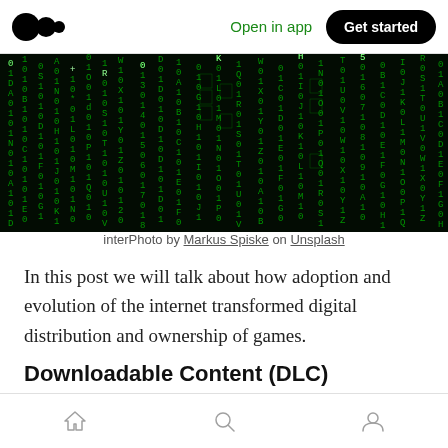Open in app  Get started
[Figure (photo): Matrix-style green digital code rain on a dark background]
interPhoto by Markus Spiske on Unsplash
In this post we will talk about how adoption and evolution of the internet transformed digital distribution and ownership of games.
Downloadable Content (DLC)
Players who loved a particular game wanted more of it. They craved more content, were
Home | Search | Profile